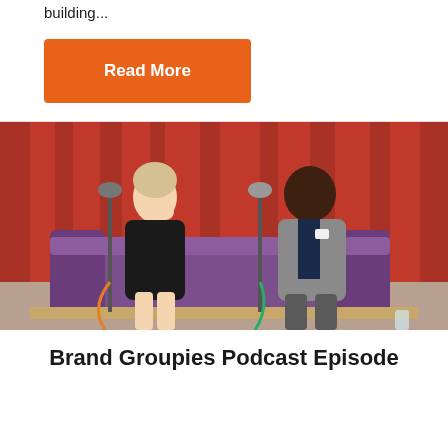building...
Read More
[Figure (photo): Two people sitting on a purple couch in front of red curtains in what appears to be a podcast recording studio. A woman in a black dress on the left and a man in a grey suit on the right, both with microphones on stands between them, laughing and conversing.]
Brand Groupies Podcast Episode